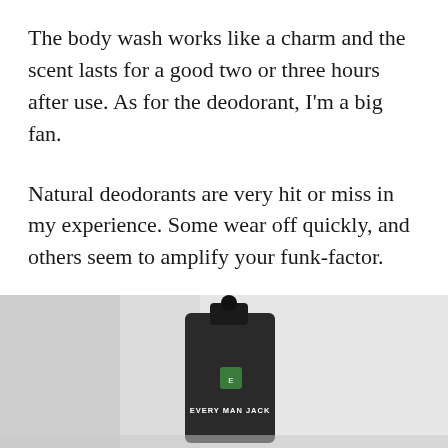The body wash works like a charm and the scent lasts for a good two or three hours after use. As for the deodorant, I'm a big fan.
Natural deodorants are very hit or miss in my experience. Some wear off quickly, and others seem to amplify your funk-factor.
[Figure (photo): A dark-colored body wash / deodorant product bottle labeled 'EVERY MAN JACK' photographed in what appears to be a bathroom or shower setting. The image is partially overlaid by an advertisement. A close (X) button appears in the bottom-right corner.]